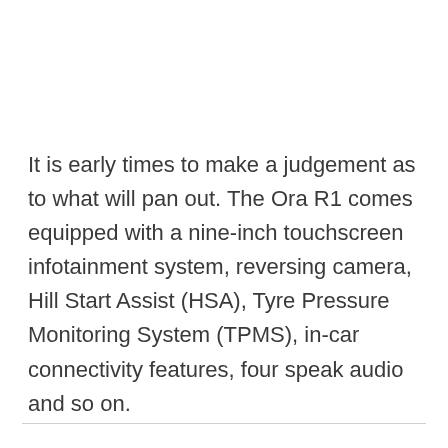It is early times to make a judgement as to what will pan out. The Ora R1 comes equipped with a nine-inch touchscreen infotainment system, reversing camera, Hill Start Assist (HSA), Tyre Pressure Monitoring System (TPMS), in-car connectivity features, four speak audio and so on.